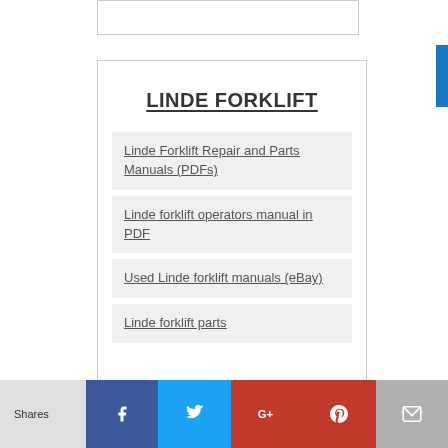LINDE FORKLIFT
Linde Forklift Repair and Parts Manuals (PDFs)
Linde forklift operators manual in PDF
Used Linde forklift manuals (eBay)
Linde forklift parts
Shares